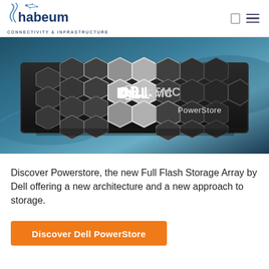habeum CONNECTIVITY & INFRASTRUCTURE
[Figure (photo): Dell EMC PowerStore storage array unit with hexagonal front panel design, shown in blue-toned studio lighting]
Discover Powerstore, the new Full Flash Storage Array by Dell offering a new architecture and a new approach to storage.
Discover Dell PowerStore